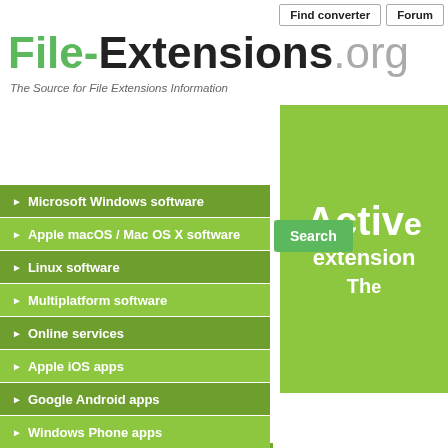Find converter | Forum
File-Extensions.org
The Source for File Extensions Information
[Figure (other): Green banner partially visible on right side with text 'Active extension The']
[Figure (other): Search bar with text 'Type file extension' and green Search button with magnifying glass icon]
Microsoft Windows software
Apple macOS / Mac OS X software
Linux software
Multiplatform software
Online services
Apple iOS apps
Google Android apps
Windows Phone apps
Blackberry apps
Amazon Kindle apps